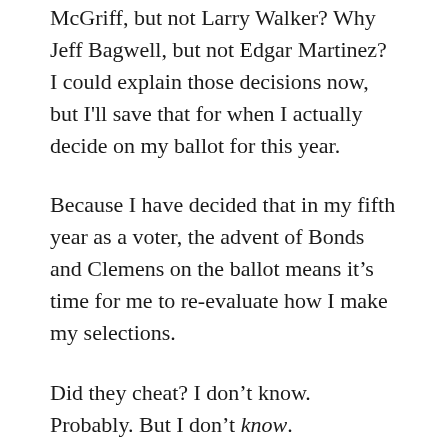McGriff, but not Larry Walker? Why Jeff Bagwell, but not Edgar Martinez? I could explain those decisions now, but I'll save that for when I actually decide on my ballot for this year.
Because I have decided that in my fifth year as a voter, the advent of Bonds and Clemens on the ballot means it's time for me to re-evaluate how I make my selections.
Did they cheat? I don't know. Probably. But I don't know.
Here's a question I need to consider, and I hope all voters do, too: If Clemens, Bonds, McGwire and even Palmeiro were not Hall of Fame